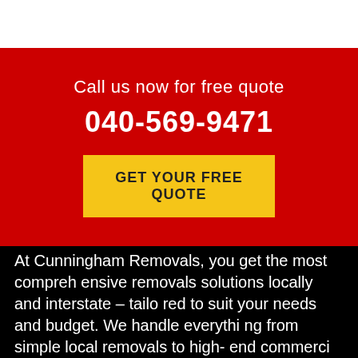Call us now for free quote
040-569-9471
GET YOUR FREE QUOTE
At Cunningham Removals, you get the most comprehensive removals solutions locally and interstate – tailored to suit your needs and budget. We handle everything from simple local removals to high- end commerci